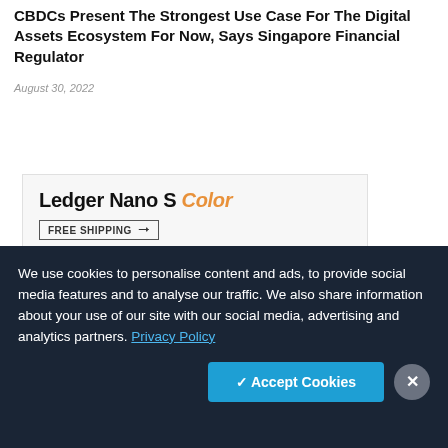CBDCs Present The Strongest Use Case For The Digital Assets Ecosystem For Now, Says Singapore Financial Regulator
August 30, 2022
[Figure (advertisement): Ledger Nano S Color advertisement with FREE SHIPPING label and red italic text 'Keep Your Crypto Secure, Everywhere']
We use cookies to personalise content and ads, to provide social media features and to analyse our traffic. We also share information about your use of our site with our social media, advertising and analytics partners. Privacy Policy